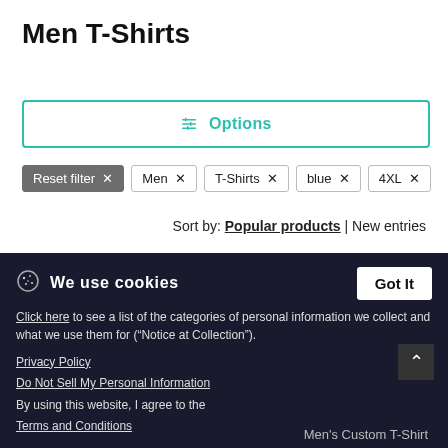Men T-Shirts
⊞ Options
Reset filter ×
Men ×
T-Shirts ×
blue ×
4XL ×
Sort by: Popular products | New entries
[Figure (photo): Blue men's t-shirt product image with 'New' badge]
Men's T-Shirt
S - 6XL & 25 Colors
★★★★½ (6598)
🍪 We use cookies  [Got It]
Click here to see a list of the categories of personal information we collect and what we use them for ("Notice at Collection").
Privacy Policy
Do Not Sell My Personal Information
By using this website, I agree to the Terms and Conditions